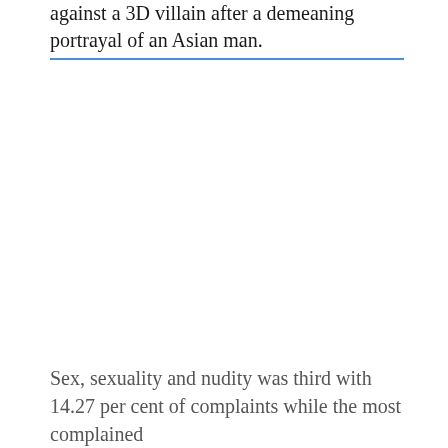against a 3D villain after a demeaning portrayal of an Asian man.
Sex, sexuality and nudity was third with 14.27 per cent of complaints while the most complained